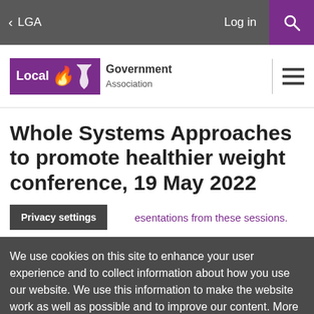< LGA   Log in  [search]
[Figure (logo): Local Government Association logo with purple box containing 'Local' text and flame icon, with 'Government Association' text beside it]
Whole Systems Approaches to promote healthier weight conference, 19 May 2022
esentations from these sessions.
Privacy settings
We use cookies on this site to enhance your user experience and to collect information about how you use our website. We use this information to make the website work as well as possible and to improve our content. More information.